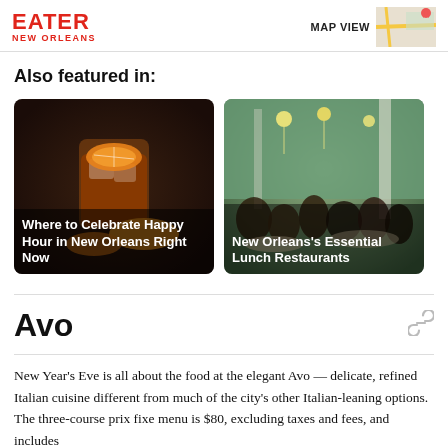EATER NEW ORLEANS — MAP VIEW
Also featured in:
[Figure (photo): Cocktail with orange slice over ice — card for Where to Celebrate Happy Hour in New Orleans Right Now]
Where to Celebrate Happy Hour in New Orleans Right Now
[Figure (photo): Crowded restaurant interior with green tile walls and pendant lights — card for New Orleans's Essential Lunch Restaurants]
New Orleans's Essential Lunch Restaurants
Avo
New Year's Eve is all about the food at the elegant Avo — delicate, refined Italian cuisine different from much of the city's other Italian-leaning options. The three-course prix fixe menu is $80, excluding taxes and fees, and includes